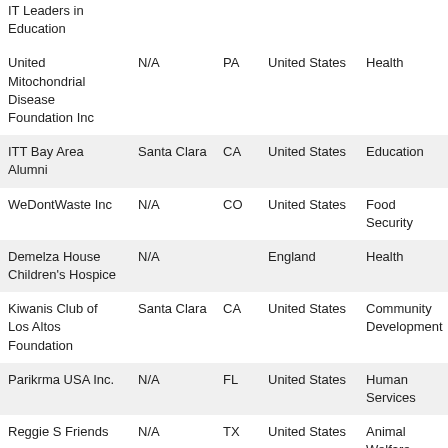| Organization | City | State | Country | Category |
| --- | --- | --- | --- | --- |
| IT Leaders in Education |  |  |  |  |
| United Mitochondrial Disease Foundation Inc | N/A | PA | United States | Health |
| ITT Bay Area Alumni | Santa Clara | CA | United States | Education |
| WeDontWaste Inc | N/A | CO | United States | Food Security |
| Demelza House Children's Hospice | N/A |  | England | Health |
| Kiwanis Club of Los Altos Foundation | Santa Clara | CA | United States | Community Development |
| Parikrma USA Inc. | N/A | FL | United States | Human Services |
| Reggie S Friends | N/A | TX | United States | Animal Welfare |